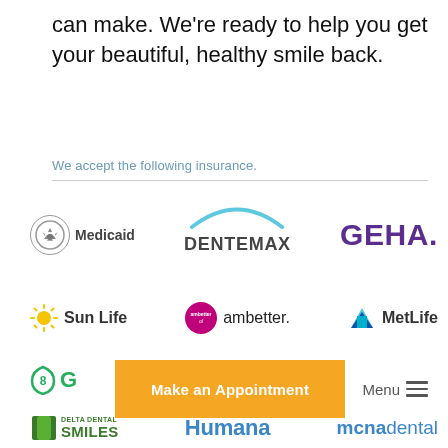can make. We're ready to help you get your beautiful, healthy smile back.
We accept the following insurance.
[Figure (logo): Medicaid logo with eagle icon in circle]
[Figure (logo): DENTEMAX logo with blue arc graphic]
[Figure (logo): GEHA. logo in purple]
[Figure (logo): Sun Life logo with sun icon]
[Figure (logo): ambetter. logo with magenta circle]
[Figure (logo): MetLife logo with blue/teal M icon]
[Figure (logo): Guardian partial logo (8 G visible)]
[Figure (logo): Make an Appointment button overlay]
Menu
[Figure (logo): Delta Dental Smiles logo]
[Figure (logo): Humana logo]
[Figure (logo): mcnadental logo]